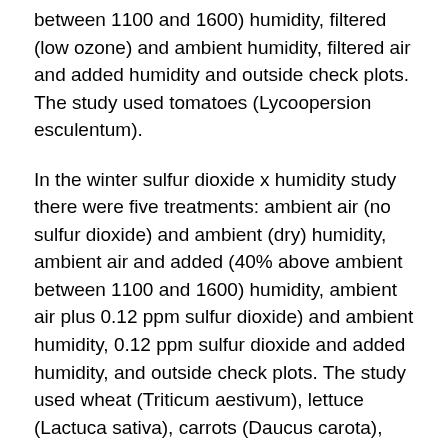between 1100 and 1600) humidity, filtered (low ozone) and ambient humidity, filtered air and added humidity and outside check plots. The study used tomatoes (Lycoopersion esculentum).
In the winter sulfur dioxide x humidity study there were five treatments: ambient air (no sulfur dioxide) and ambient (dry) humidity, ambient air and added (40% above ambient between 1100 and 1600) humidity, ambient air plus 0.12 ppm sulfur dioxide) and ambient humidity, 0.12 ppm sulfur dioxide and added humidity, and outside check plots. The study used wheat (Triticum aestivum), lettuce (Lactuca sativa), carrots (Daucus carota), and onions (Allium cepa).
In the spring oxidant x humidity study there were five treatments: ambient air (high ozone) and ambient (dry) humidity, ambient air and added (25% above ambient